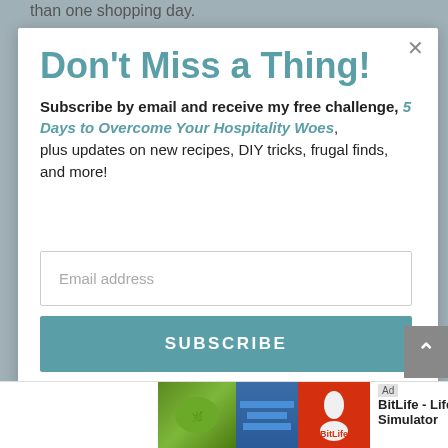than one shopping day.
Don't Miss a Thing!
Subscribe by email and receive my free challenge, 5 Days to Overcome Your Hospitality Woes, plus updates on new recipes, DIY tricks, frugal finds, and more!
Email address
SUBSCRIBE
[Figure (screenshot): Ad banner showing BitLife - Life Simulator app with Install button]